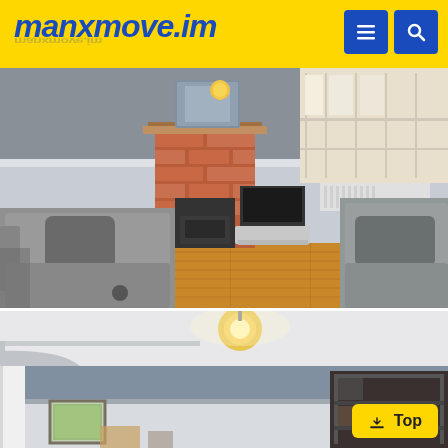manxmove.im
[Figure (photo): Interior photo of a living room with two grey recliner sofas, a brick fireplace with a dark stove, a bay window letting in natural light, wooden flooring, a TV unit, and a white shelving unit on the right side.]
[Figure (photo): Interior photo showing the ceiling and upper walls of a hallway or room with grey painted upper walls, white lower walls, a pendant light, a framed green picture on the wall, and a dark metal shelving unit on the right.]